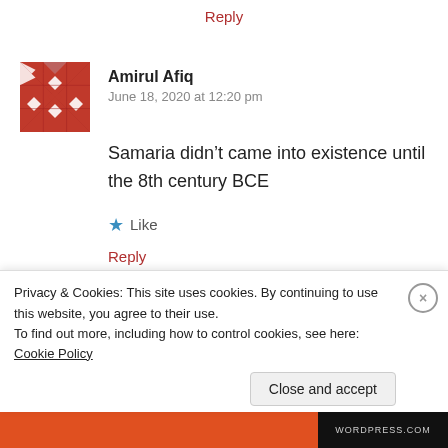Reply
Amirul Afiq
June 18, 2020 at 12:20 pm
Samaria didn't came into existence until the 8th century BCE
Like
Reply
Vagas Rehman
Privacy & Cookies: This site uses cookies. By continuing to use this website, you agree to their use.
To find out more, including how to control cookies, see here: Cookie Policy
Close and accept